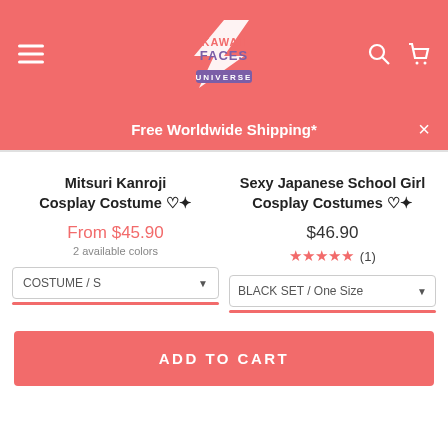Kawaii Faces Universe — navigation header with menu, logo, search, and cart icons
Free Worldwide Shipping*
Mitsuri Kanroji Cosplay Costume ♡✦
From $45.90
2 available colors
COSTUME / S
Sexy Japanese School Girl Cosplay Costumes ♡✦
$46.90
★★★★★ (1)
BLACK SET / One Size
ADD TO CART